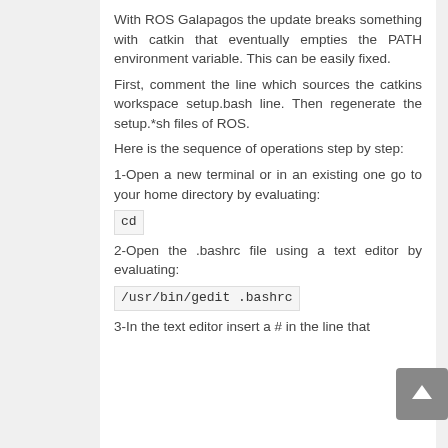With ROS Galapagos the update breaks something with catkin that eventually empties the PATH environment variable. This can be easily fixed.
First, comment the line which sources the catkins workspace setup.bash line. Then regenerate the setup.*sh files of ROS.
Here is the sequence of operations step by step:
1-Open a new terminal or in an existing one go to your home directory by evaluating:
cd
2-Open the .bashrc file using a text editor by evaluating:
/usr/bin/gedit .bashrc
3-In the text editor insert a # in the line that